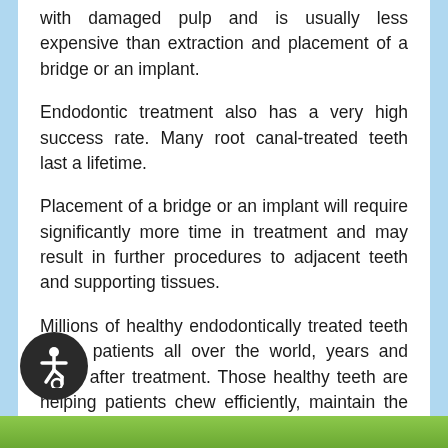with damaged pulp and is usually less expensive than extraction and placement of a bridge or an implant.
Endodontic treatment also has a very high success rate. Many root canal-treated teeth last a lifetime.
Placement of a bridge or an implant will require significantly more time in treatment and may result in further procedures to adjacent teeth and supporting tissues.
Millions of healthy endodontically treated teeth serve patients all over the world, years and years after treatment. Those healthy teeth are helping patients chew efficiently, maintain the natural appearance of their smiles and enhance their